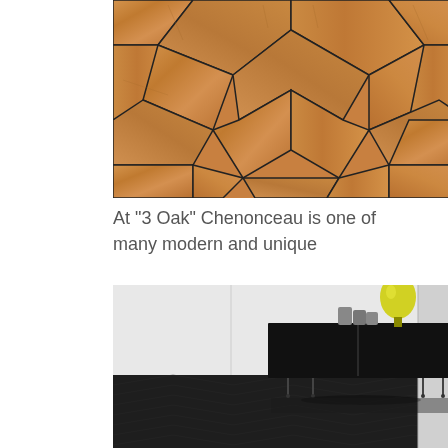[Figure (photo): Close-up photograph of a geometric wood parquet flooring pattern in warm tan/orange tones with dark grout lines forming an angular, interlocking pattern]
At "3 Oak" Chenonceau is one of many modern and unique
[Figure (photo): Interior room photograph showing a modern black low sideboard/credenza with thin metal legs, topped with decorative objects including a yellow glass lamp and gray cylindrical vases, set on dark herringbone parquet flooring against a white wall]